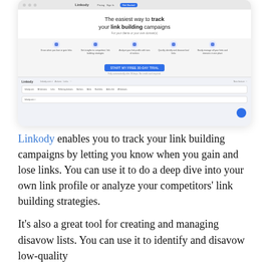[Figure (screenshot): Screenshot of Linkody website showing hero section with headline 'The easiest way to track your link building campaigns', feature icons, a CTA button 'START MY FREE 30-DAY TRIAL', and a dashboard preview below.]
Linkody enables you to track your link building campaigns by letting you know when you gain and lose links. You can use it to do a deep dive into your own link profile or analyze your competitors' link building strategies.
It's also a great tool for creating and managing disavow lists. You can use it to identify and disavow low-quality